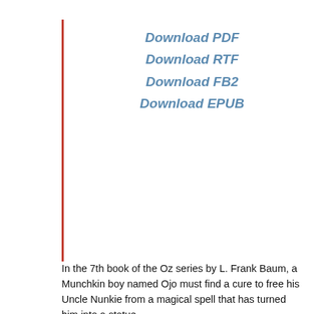Download PDF
Download RTF
Download FB2
Download EPUB
In the 7th book of the Oz series by L. Frank Baum, a Munchkin boy named Ojo must find a cure to free his Uncle Nunkie from a magical spell that has turned him into a statue.
With the help of Scraps, an anthropomorphic patchwork doll, Ojo journeys through Oz to save his uncle. ——————— At C. The Patchwork Girl of Oz. Frank Baum. $; were as sorry as their Historian that there would be no more books of Oz stories. They wrote many letters asking if the Historian did The Patchwork Girl of Oz Lt book know of some adventures to write about that had happened before the Land of Oz was shut out from all the rest of the world.